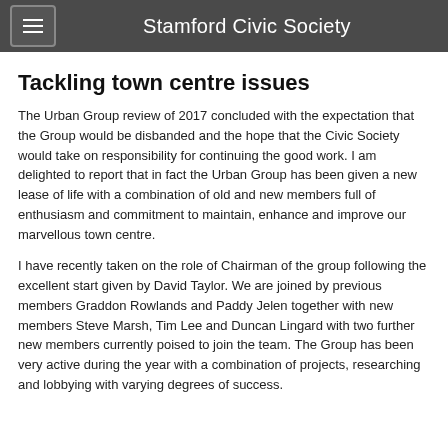Stamford Civic Society
Tackling town centre issues
The Urban Group review of 2017 concluded with the expectation that the Group would be disbanded and the hope that the Civic Society would take on responsibility for continuing the good work. I am delighted to report that in fact the Urban Group has been given a new lease of life with a combination of old and new members full of enthusiasm and commitment to maintain, enhance and improve our marvellous town centre.
I have recently taken on the role of Chairman of the group following the excellent start given by David Taylor. We are joined by previous members Graddon Rowlands and Paddy Jelen together with new members Steve Marsh, Tim Lee and Duncan Lingard with two further new members currently poised to join the team. The Group has been very active during the year with a combination of projects, researching and lobbying with varying degrees of success.